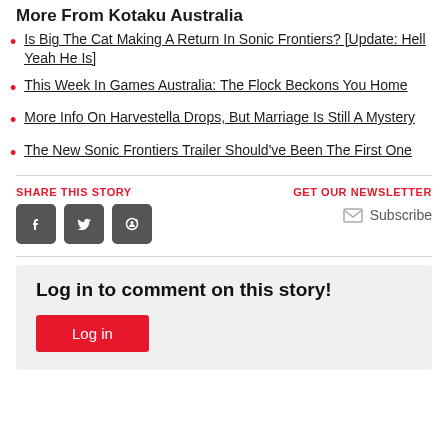More From Kotaku Australia
Is Big The Cat Making A Return In Sonic Frontiers? [Update: Hell Yeah He Is]
This Week In Games Australia: The Flock Beckons You Home
More Info On Harvestella Drops, But Marriage Is Still A Mystery
The New Sonic Frontiers Trailer Should've Been The First One
SHARE THIS STORY
GET OUR NEWSLETTER
Subscribe
Log in to comment on this story!
Log in